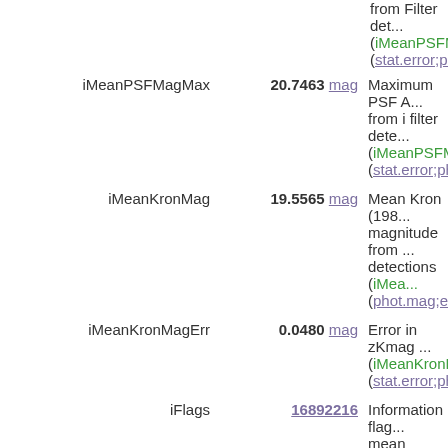from Filter det... (iMeanPSFMag... (stat.error;phot.m...
iMeanPSFMagMax | 20.7463 mag | Maximum PSF A... from i filter dete... (iMeanPSFMag... (stat.error;phot.m...
iMeanKronMag | 19.5565 mag | Mean Kron (198... magnitude from... detections (iMea... (phot.mag;em.op...
iMeanKronMagErr | 0.0480 mag | Error in zKmag... (iMeanKronMag... (stat.error;phot.m...
iFlags | 16892216 | Information flag... mean object from... detections (iFlag... flag explanations... (meta.code)
zQfPerfect | 0.999802 | Maximum PSF w... fraction of pixels... unmasked from z... detections (zQfP... (instr.det.psf)